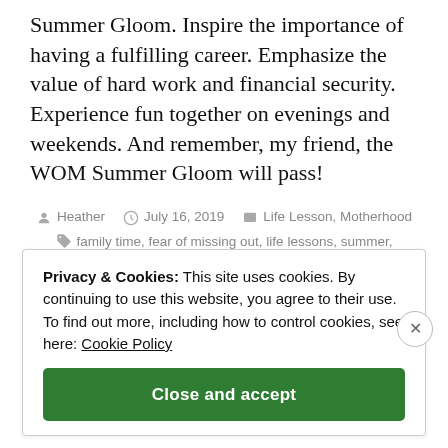Summer Gloom. Inspire the importance of having a fulfilling career. Emphasize the value of hard work and financial security. Experience fun together on evenings and weekends. And remember, my friend, the WOM Summer Gloom will pass!
Heather  July 16, 2019  Life Lesson, Motherhood  family time, fear of missing out, life lessons, summer, working mom  5 Comments
Privacy & Cookies: This site uses cookies. By continuing to use this website, you agree to their use.
To find out more, including how to control cookies, see here: Cookie Policy
Close and accept